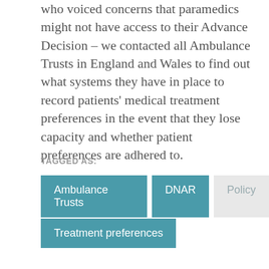Prompted by callers to the Information Line who voiced concerns that paramedics might not have access to their Advance Decision – we contacted all Ambulance Trusts in England and Wales to find out what systems they have in place to record patients' medical treatment preferences in the event that they lose capacity and whether patient preferences are adhered to.
TAGGED AS:
Ambulance Trusts
DNAR
Policy
Treatment preferences